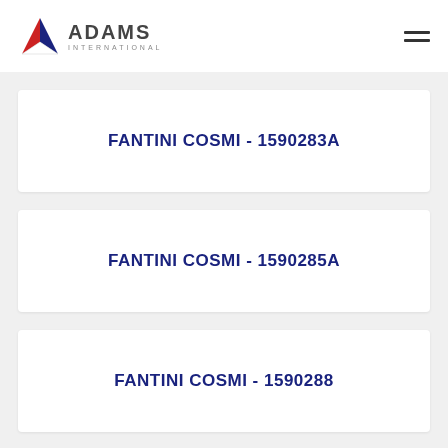[Figure (logo): Adams International logo with triangular icon in red, white, and blue, with ADAMS text in dark gray and INTERNATIONAL below in smaller letters]
FANTINI COSMI - 1590283A
FANTINI COSMI - 1590285A
FANTINI COSMI - 1590288
FANTINI COSMI - 1590289